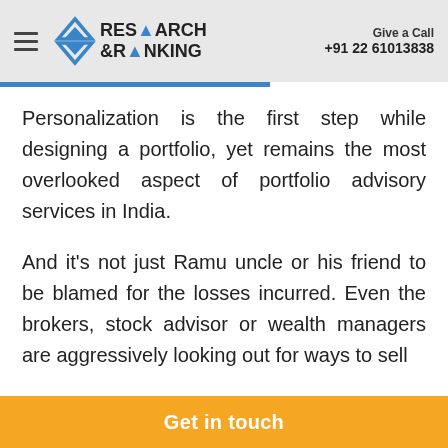Research & Ranking | Give a Call +91 22 61013838
Personalization is the first step while designing a portfolio, yet remains the most overlooked aspect of portfolio advisory services in India.
And it's not just Ramu uncle or his friend to be blamed for the losses incurred. Even the brokers, stock advisor or wealth managers are aggressively looking out for ways to sell
Get in touch